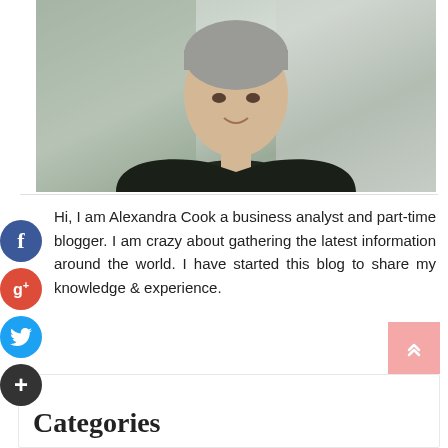[Figure (photo): Portrait photo of a middle-aged man with grey hair wearing a dark blazer and light blue shirt, standing outdoors in front of a white wall]
Hi, I am Alexandra Cook a business analyst and part-time blogger. I am crazy about gathering the latest information around the world. I have started this blog to share my knowledge & experience.
Categories